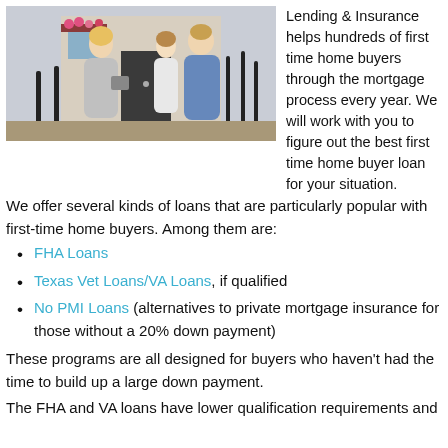[Figure (photo): A woman in a grey coat holding a tablet speaks with a couple (young woman and man) outside a building with flowers and a dark door.]
Lending & Insurance helps hundreds of first time home buyers through the mortgage process every year. We will work with you to figure out the best first time home buyer loan for your situation. We offer several kinds of loans that are particularly popular with first-time home buyers. Among them are:
FHA Loans
Texas Vet Loans/VA Loans, if qualified
No PMI Loans (alternatives to private mortgage insurance for those without a 20% down payment)
These programs are all designed for buyers who haven't had the time to build up a large down payment.
The FHA and VA loans have lower qualification requirements and